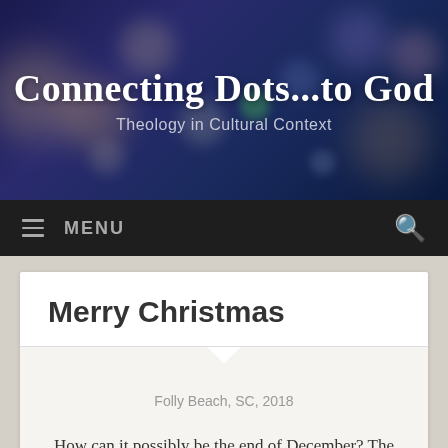Connecting Dots...to God
Theology in Cultural Context
Merry Christmas
Folly Beach, SC, 2018
How can it possibly be the end of December? The years go by fast, and I suppose that's because they